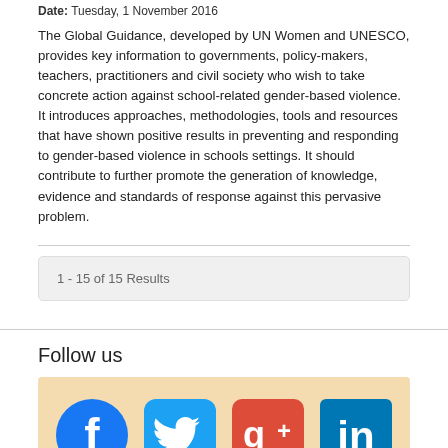Date: Tuesday, 1 November 2016
The Global Guidance, developed by UN Women and UNESCO, provides key information to governments, policy-makers, teachers, practitioners and civil society who wish to take concrete action against school-related gender-based violence. It introduces approaches, methodologies, tools and resources that have shown positive results in preventing and responding to gender-based violence in schools settings. It should contribute to further promote the generation of knowledge, evidence and standards of response against this pervasive problem.
1 - 15 of 15 Results
Follow us
[Figure (infographic): Social media icons: Facebook, Twitter, Google+, LinkedIn on a light orange/beige background]